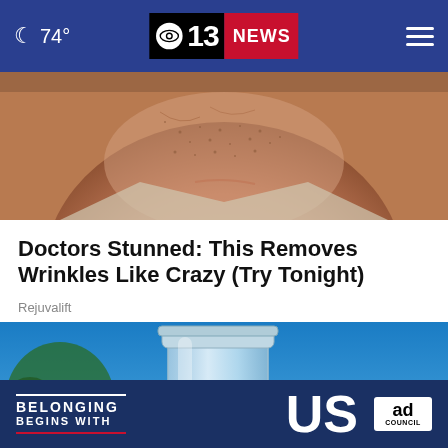74° CBS 13 NEWS
[Figure (photo): Close-up photo of a man's chin and neck area showing aging skin with stubble]
Doctors Stunned: This Removes Wrinkles Like Crazy (Try Tonight)
Rejuvalift
[Figure (photo): Person holding a glass jar with liquid against a blue sky background, with an overlaid ad banner reading 'BELONGING BEGINS WITH US' and an Ad Council badge, and a close/X button]
[Figure (infographic): Ad banner overlay: BELONGING BEGINS WITH US - Ad Council advertisement]